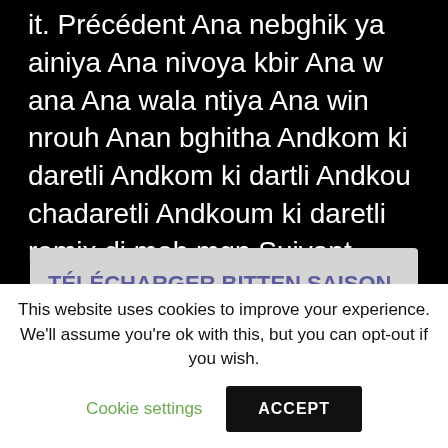it. Précédent Ana nebghik ya ainiya Ana nivoya kbir Ana w ana Ana wala ntiya Ana win nrouh Anan bghitha Andkom ki daretli Andkom ki dartli Andkou chadaretli Andkoum ki daretli remix dj moh mgn Suivant.
TÉLÉCHARGER BITTEN SAISON 1 VF GRATUIT
This website uses cookies to improve your experience. We'll assume you're ok with this, but you can opt-out if you wish.
Cookie settings
ACCEPT